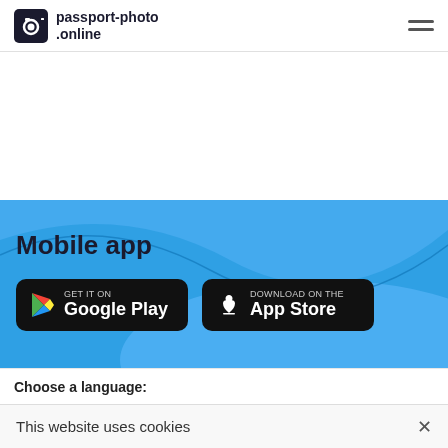passport-photo.online
Mobile app
[Figure (logo): GET IT ON Google Play badge]
[Figure (logo): Download on the App Store badge]
Choose a language:
This website uses cookies